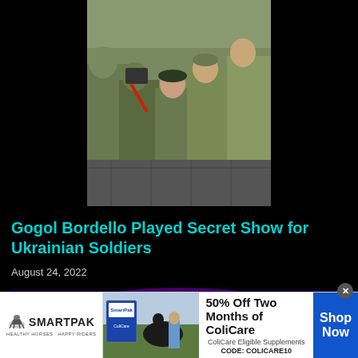[Figure (photo): Group of soldiers in camouflage uniforms gathered together outdoors, some appear to be embracing or interacting, taken during daytime]
Gogol Bordello Played Secret Show for Ukrainian Soldiers
August 24, 2022
[Figure (photo): Dark stage scene with purple/violet lighting, partial view of a concert or performance]
[Figure (other): SmartPak advertisement: 50% Off Two Months of ColiCare, ColiCare Eligible Supplements, CODE: COLICARE10, with Shop Now button]